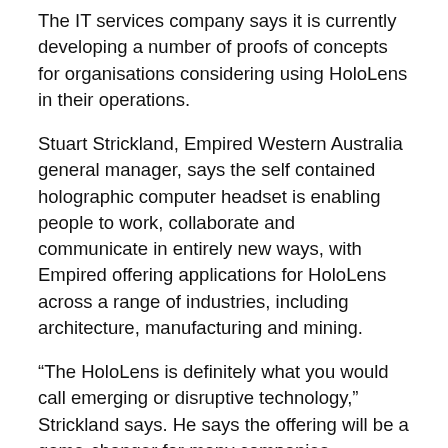The IT services company says it is currently developing a number of proofs of concepts for organisations considering using HoloLens in their operations.
Stuart Strickland, Empired Western Australia general manager, says the self contained holographic computer headset is enabling people to work, collaborate and communicate in entirely new ways, with Empired offering applications for HoloLens across a range of industries, including architecture, manufacturing and mining.
“The HoloLens is definitely what you would call emerging or disruptive technology,” Strickland says. He says the offering will be a game-changer for many companies.
“By creating software that utilises the HoloLens, Empired is helping businesses innovate and compete in ways they haven’t been able to consider in the